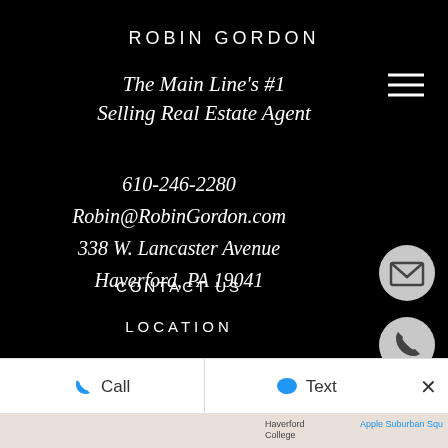ROBIN GORDON
The Main Line's #1 Selling Real Estate Agent
610-246-2280
Robin@RobinGordon.com
338 W. Lancaster Avenue
Haverford, PA 19041
CONTACT US
LOCATION
Call
Text